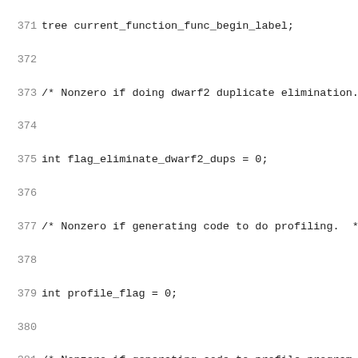371 tree current_function_func_begin_label;
372
373 /* Nonzero if doing dwarf2 duplicate elimination.  */
374
375 int flag_eliminate_dwarf2_dups = 0;
376
377 /* Nonzero if generating code to do profiling.  */
378
379 int profile_flag = 0;
380
381 /* Nonzero if generating code to profile program flow g
382
383 int profile_arc_flag = 0;
384
385 /* Nonzero if generating info for gcov to calculate lin
386
387 int flag_test_coverage = 0;
388
389 /* Nonzero indicates that branch taken probabilities sh
390
391 int flag_branch_probabilities = 0;
392
393 /* Nonzero if basic blocks should be reordered.  */
394
395 int flag_reorder_blocks = 0;
396
397 /* Nonzero if functions should be reordered.  */
398
399 int flag_reorder_functions = 0;
400
401 /* Nonzero if registers should be renamed.  */
402